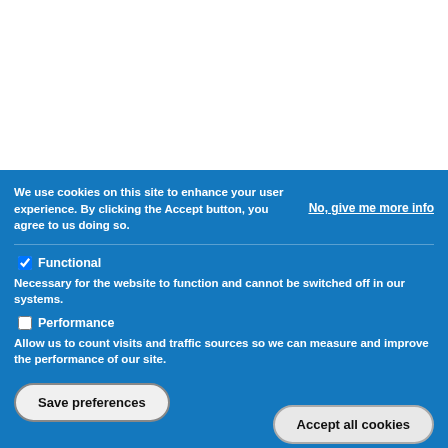We use cookies on this site to enhance your user experience. By clicking the Accept button, you agree to us doing so.
No, give me more info
Functional
Necessary for the website to function and cannot be switched off in our systems.
Performance
Allow us to count visits and traffic sources so we can measure and improve the performance of our site.
Save preferences
Accept all cookies